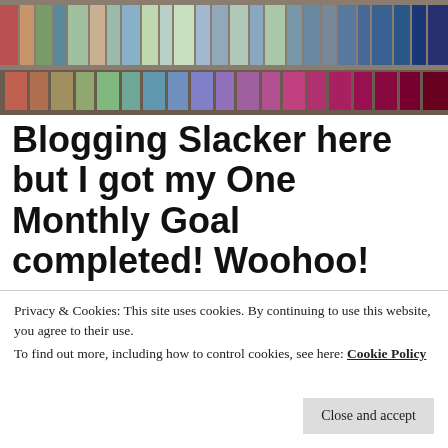[Figure (photo): Rows of colorful folded fabric bolts arranged on shelves, showing quilting fabric in various patterns and colors.]
Blogging Slacker here but I got my One Monthly Goal completed! Woohoo!
[Figure (photo): A quilted table runner featuring orange cross/plus shapes on a patterned background with an orange border. Watermark reads © Quiltingneeds.com]
Privacy & Cookies: This site uses cookies. By continuing to use this website, you agree to their use.
To find out more, including how to control cookies, see here: Cookie Policy